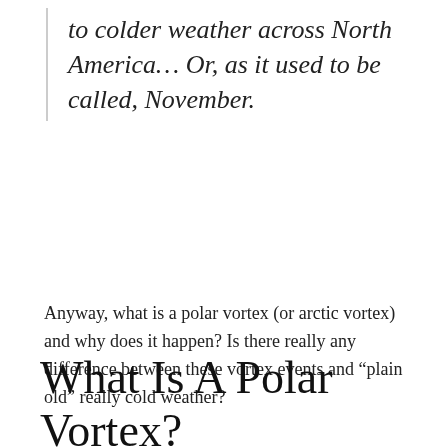to colder weather across North America... Or, as it used to be called, November.
Anyway, what is a polar vortex (or arctic vortex) and why does it happen? Is there really any difference between these vortex events and “plain old” really cold weather?
What Is A Polar Vortex?